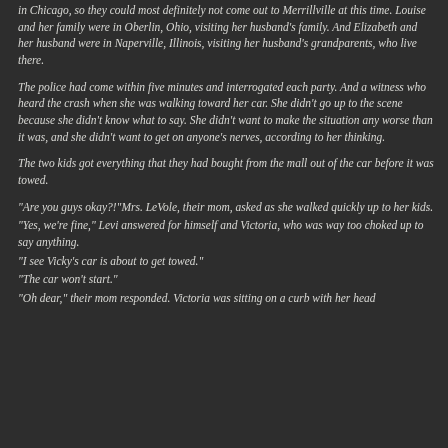in Chicago, so they could most definitely not come out to Merrillville at this time. Louise and her family were in Oberlin, Ohio, visiting her husband's family. And Elizabeth and her husband were in Naperville, Illinois, visiting her husband's grandparents, who live there.
The police had come within five minutes and interrogated each party. And a witness who heard the crash when she was walking toward her car. She didn't go up to the scene because she didn't know what to say. She didn't want to make the situation any worse than it was, and she didn't want to get on anyone's nerves, according to her thinking.
The two kids got everything that they had bought from the mall out of the car before it was towed.
“Are you guys okay?!”Mrs. LeVole, their mom, asked as she walked quickly up to her kids.
“Yes, we’re fine,” Levi answered for himself and Victoria, who was way too choked up to say anything.
“I see Vicky’s car is about to get towed.”
“The car won’t start.”
“Oh dear,” their mom responded. Victoria was sitting on a curb with her head